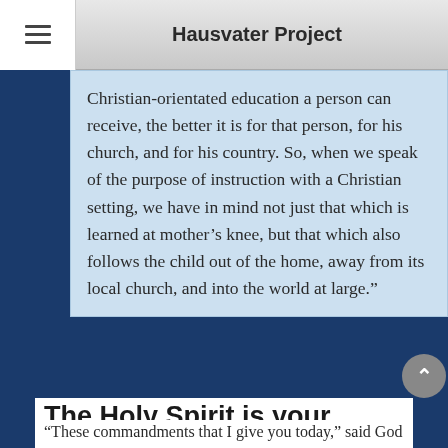Hausvater Project
Christian-orientated education a person can receive, the better it is for that person, for his church, and for his country. So, when we speak of the purpose of instruction with a Christian setting, we have in mind not just that which is learned at mother's knee, but that which also follows the child out of the home, away from its local church, and into the world at large.”
The Holy Spirit is your child’s best educator.
“These commandments that I give you today,” said God